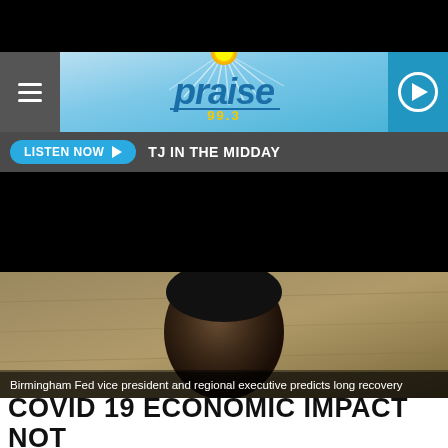[Figure (screenshot): Top black navigation bar]
[Figure (logo): Praise 99.3 radio station logo header with sunburst, blue background, hamburger menu left, play button right]
LISTEN NOW ▶   TJ IN THE MIDDAY
[Figure (photo): Black rectangle (ad/video area)]
[Figure (photo): Photo of man's head/shoulders, Birmingham Fed vice president and regional executive]
Birmingham Fed vice president and regional executive predicts long recovery
COVID 19 ECONOMIC IMPACT NOT